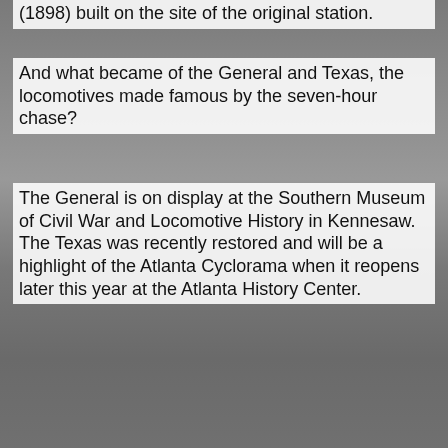(1898) built on the site of the original station.
And what became of the General and Texas, the locomotives made famous by the seven-hour chase?
The General is on display at the Southern Museum of Civil War and Locomotive History in Kennesaw. The Texas was recently restored and will be a highlight of the Atlanta Cyclorama when it reopens later this year at the Atlanta History Center.
Phil Gast at 7:36 PM    1 comment:
Share
THURSDAY, JULY 26, 2018
He never received a medal. Until now.
A New York family has received a Civil War medal for their ancestor who died before the military decoration was created. State Sen. David Carlucci presented Viola Silverman with a replica of the Civil War Campaign